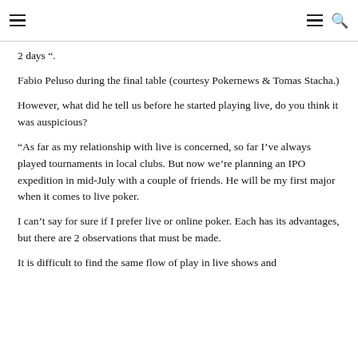2 days “.
Fabio Peluso during the final table (courtesy Pokernews & Tomas Stacha.)
However, what did he tell us before he started playing live, do you think it was auspicious?
“As far as my relationship with live is concerned, so far I’ve always played tournaments in local clubs. But now we’re planning an IPO expedition in mid-July with a couple of friends. He will be my first major when it comes to live poker.
I can’t say for sure if I prefer live or online poker. Each has its advantages, but there are 2 observations that must be made.
It is difficult to find the same flow of play in live shows and